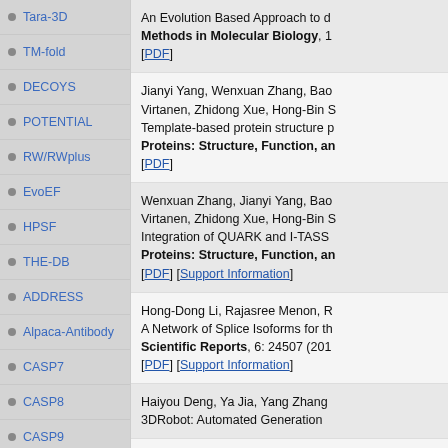Tara-3D
TM-fold
DECOYS
POTENTIAL
RW/RWplus
EvoEF
HPSF
THE-DB
ADDRESS
Alpaca-Antibody
CASP7
CASP8
CASP9
CASP10
CASP11
CASP12
CASP13
CASP14
An Evolution Based Approach to d... Methods in Molecular Biology, 1... [PDF]
Jianyi Yang, Wenxuan Zhang, Bao... Virtanen, Zhidong Xue, Hong-Bin S... Template-based protein structure p... Proteins: Structure, Function, an... [PDF]
Wenxuan Zhang, Jianyi Yang, Bao... Virtanen, Zhidong Xue, Hong-Bin S... Integration of QUARK and I-TASS... Proteins: Structure, Function, an... [PDF] [Support Information]
Hong-Dong Li, Rajasree Menon, R... A Network of Splice Isoforms for th... Scientific Reports, 6: 24507 (201... [PDF] [Support Information]
Haiyou Deng, Ya Jia, Yang Zhang... 3DRobot: Automated Generation...